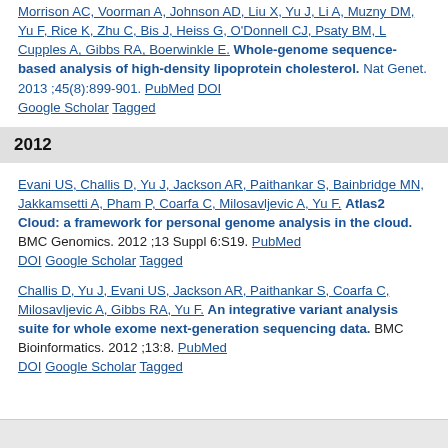Morrison AC, Voorman A, Johnson AD, Liu X, Yu J, Li A, Muzny DM, Yu F, Rice K, Zhu C, Bis J, Heiss G, O'Donnell CJ, Psaty BM, L Cupples A, Gibbs RA, Boerwinkle E. Whole-genome sequence-based analysis of high-density lipoprotein cholesterol. Nat Genet. 2013 ;45(8):899-901. PubMed DOI Google Scholar Tagged
2012
Evani US, Challis D, Yu J, Jackson AR, Paithankar S, Bainbridge MN, Jakkamsetti A, Pham P, Coarfa C, Milosavljevic A, Yu F. Atlas2 Cloud: a framework for personal genome analysis in the cloud. BMC Genomics. 2012 ;13 Suppl 6:S19. PubMed DOI Google Scholar Tagged
Challis D, Yu J, Evani US, Jackson AR, Paithankar S, Coarfa C, Milosavljevic A, Gibbs RA, Yu F. An integrative variant analysis suite for whole exome next-generation sequencing data. BMC Bioinformatics. 2012 ;13:8. PubMed DOI Google Scholar Tagged